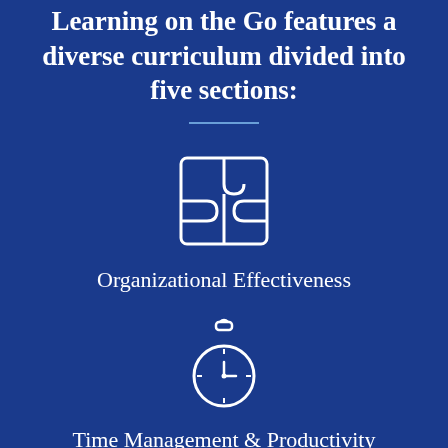Learning on the Go features a diverse curriculum divided into five sections:
[Figure (illustration): Puzzle pieces icon (four interlocking puzzle pieces arranged in a 2x2 grid, white outline on dark blue background)]
Organizational Effectiveness
[Figure (illustration): Stopwatch/timer icon, white outline on dark blue background]
Time Management & Productivity Improvement